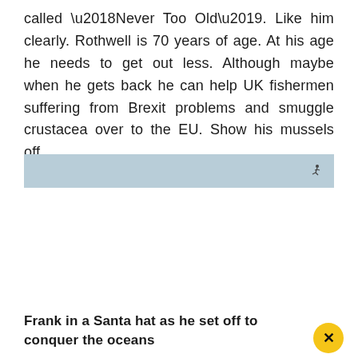called ‘Never Too Old’. Like him clearly. Rothwell is 70 years of age. At his age he needs to get out less. Although maybe when he gets back he can help UK fishermen suffering from Brexit problems and smuggle crustacea over to the EU. Show his mussels off.
[Figure (photo): A wide landscape photo with a pale blue-grey sky background. A very small figure, possibly a person on water or snow, appears near the right side of the image.]
Frank in a Santa hat as he set off to conquer the oceans